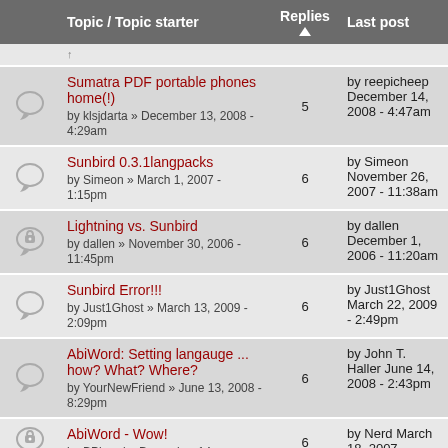|  | Topic / Topic starter | Replies | Last post |
| --- | --- | --- | --- |
| [icon] | [partial row] |  |  |
| [bubble] | Sumatra PDF portable phones home(!)
by klsjdarta » December 13, 2008 - 4:29am | 5 | by reepicheep December 14, 2008 - 4:47am |
| [bubble] | Sunbird 0.3.1langpacks
by Simeon » March 1, 2007 - 1:15pm | 6 | by Simeon November 26, 2007 - 11:38am |
| [lock] | Lightning vs. Sunbird
by dallen » November 30, 2006 - 11:45pm | 6 | by dallen December 1, 2006 - 11:20am |
| [bubble] | Sunbird Error!!!
by Just1Ghost » March 13, 2009 - 2:09pm | 6 | by Just1Ghost March 22, 2009 - 2:49pm |
| [bubble] | AbiWord: Setting langauge ... how? What? Where?
by YourNewFriend » June 13, 2008 - 8:29pm | 6 | by John T. Haller June 14, 2008 - 2:43pm |
| [lock] | AbiWord - Wow!
by BPinard » December 14, | 6 | by Nerd March 18, 2007 - |